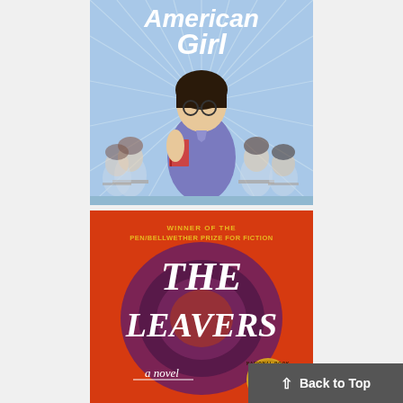[Figure (illustration): Book cover for 'American Girl' - graphic novel style illustration showing a young Asian girl with glasses holding a book, standing in a classroom with other students in the background. Blue and white color scheme with the title in white handwritten font at the top.]
[Figure (illustration): Book cover for 'The Leavers' by Lisa Ko - orange/red background with a large dark swirling circle. Text reads 'WINNER OF THE PEN/BELLWETHER PRIZE FOR FICTION' in gold, 'THE LEAVERS' in large white handwritten font, 'a novel' in white script at bottom left, and a National Book Award Finalist medallion at bottom right.]
Back to Top